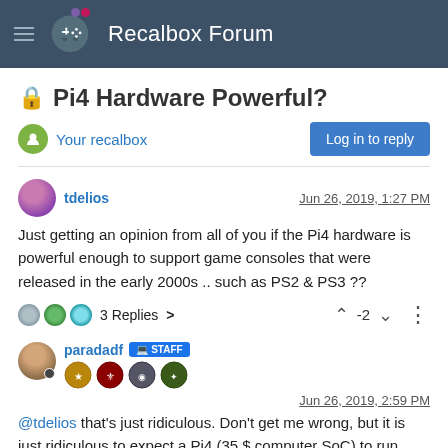Recalbox Forum
Pi4 Hardware Powerful?
Your recalbox
Log in to reply
tdelios  Jun 26, 2019, 1:27 PM
Just getting an opinion from all of you if the Pi4 hardware is powerful enough to support game consoles that were released in the early 2000s .. such as PS2 & PS3 ??
3 Replies >   -2
paradadf  STAFF  Jun 26, 2019, 2:59 PM
@tdelios that's just ridiculous. Don't get me wrong, but it is just ridiculous to expect a Pi4 (35 $ computer SoC) to run such